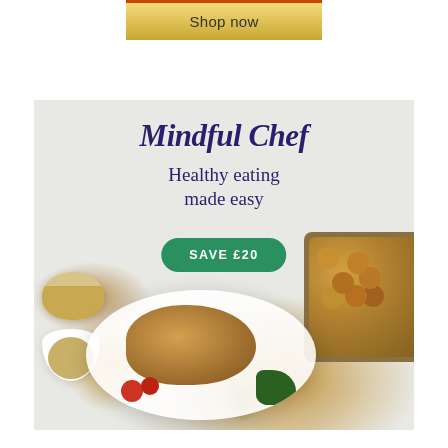Shop now
[Figure (illustration): Mindful Chef advertisement showing a meal kit delivery service ad. Features a food photo with a plate of chicken with vegetables, a bowl of nuts, a tray of roasted potatoes, and small bowls of seeds/spices on a light grey background. Overlaid text reads 'Mindful Chef' in dark blue script, 'Healthy eating made easy' in dark blue serif, and a green rounded button 'SAVE £20'.]
Mindful Chef
Healthy eating made easy
SAVE £20